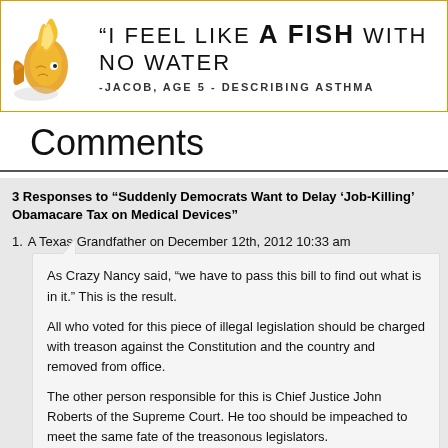[Figure (illustration): Banner with goldfish graphic on left and quote text: "I FEEL LIKE A FISH WITH NO WATER" -JACOB, AGE 5 - DESCRIBING ASTHMA]
Comments
3 Responses to “Suddenly Democrats Want to Delay ‘Job-Killing’ Obamacare Tax on Medical Devices”
1. A Texas Grandfather on December 12th, 2012 10:33 am
As Crazy Nancy said, “we have to pass this bill to find out what is in it.” This is the result.

All who voted for this piece of illegal legislation should be charged with treason against the Constitution and the country and removed from office.

The other person responsible for this is Chief Justice John Roberts of the Supreme Court. He too should be impeached to meet the same fate of the treasonous legislators.
2. carrik simmons on December 14th, 2012 12:35 am
they should be.......bec[image]lly gonna effect the medical stream